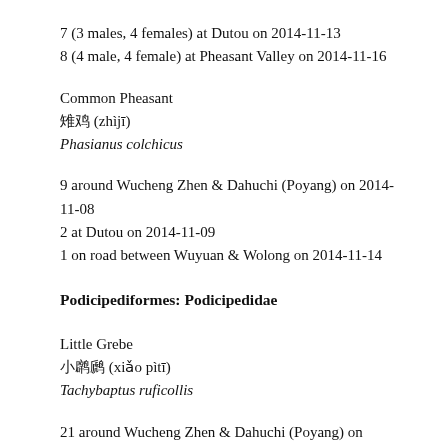7 (3 males, 4 females) at Dutou on 2014-11-13
8 (4 male, 4 female) at Pheasant Valley on 2014-11-16
Common Pheasant
雉鸡 (zhìjī)
Phasianus colchicus
9 around Wucheng Zhen & Dahuchi (Poyang) on 2014-11-08
2 at Dutou on 2014-11-09
1 on road between Wuyuan & Wolong on 2014-11-14
Podicipediformes: Podicipedidae
Little Grebe
小鹱鹞 (xiǎo pìtī)
Tachybaptus ruficollis
21 around Wucheng Zhen & Dahuchi (Poyang) on